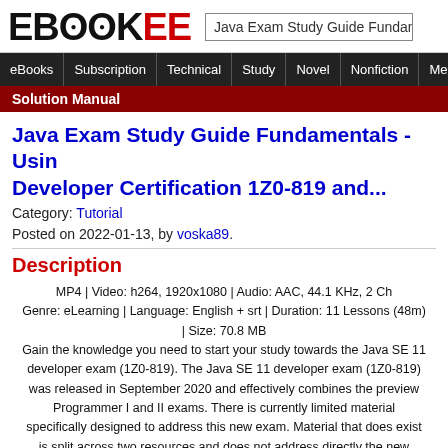EBOOKEE — Java Exam Study Guide Fundame...
eBooks | Subscription | Technical | Study | Novel | Nonfiction | Me...
Solution Manual
Java Exam Study Guide Fundamentals - Usin Developer Certification 1Z0-819 and...
Category: Tutorial
Posted on 2022-01-13, by voska89.
Description
MP4 | Video: h264, 1920x1080 | Audio: AAC, 44.1 KHz, 2 Ch
Genre: eLearning | Language: English + srt | Duration: 11 Lessons (48m) | Size: 70.8 MB
Gain the knowledge you need to start your study towards the Java SE 11 developer exam (1Z0-819). The Java SE 11 developer exam (1Z0-819) was released in September 2020 and effectively combines the preview Programmer I and II exams. There is currently limited material specifically designed to address this new exam. Material that does exist is split across two resources and does not address directly the new...